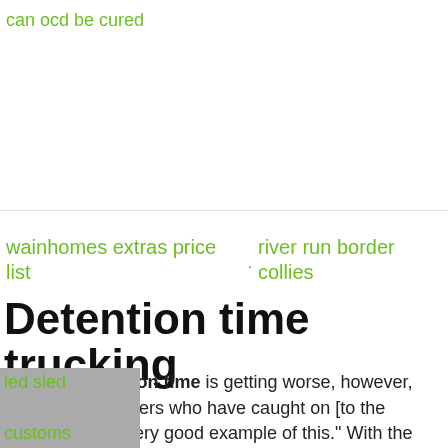can ocd be cured
wainhomes extras price list
river run border collies
Detention time trucking
"Overall, detention time is getting worse, however, there are customers who have caught on [to the Detention is a very good example of this." With the expansion of truck telematics and
led sled
customs